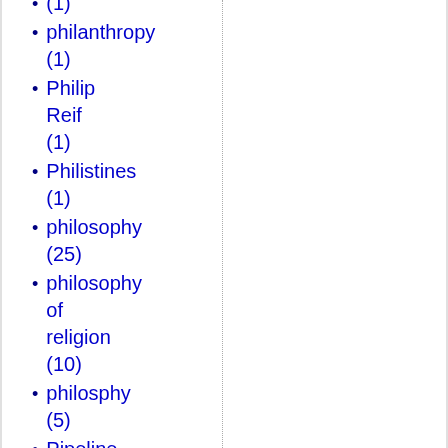(1)
philanthropy (1)
Philip Reif (1)
Philistines (1)
philosophy (25)
philosophy of religion (10)
philosphy (5)
Pipeline Politics (1)
Pit of Hell (1)
Planned Parenthood (1)